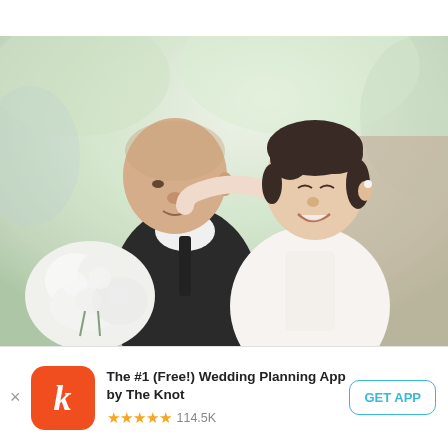[Figure (photo): Wedding couple photo: a groom in a dark suit and white shirt with black tie, and a bride in a white dress with her arm around the groom's shoulder, holding a white bouquet. They are looking at each other and smiling. Outdoor setting with soft green bokeh background.]
The #1 (Free!) Wedding Planning App by The Knot
★★★★★ 114.5K
GET APP